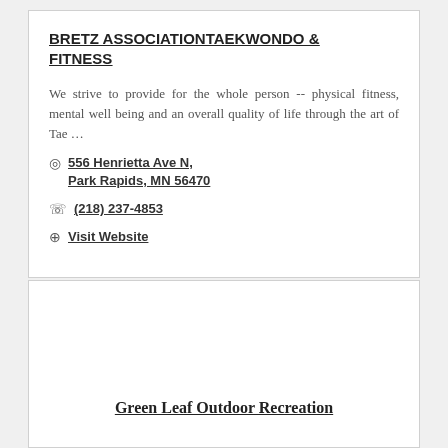BRETZ ASSOCIATIONTAEKWONDO & FITNESS
We strive to provide for the whole person -- physical fitness, mental well being and an overall quality of life through the art of Tae …
556 Henrietta Ave N, Park Rapids, MN 56470
(218) 237-4853
Visit Website
Green Leaf Outdoor Recreation